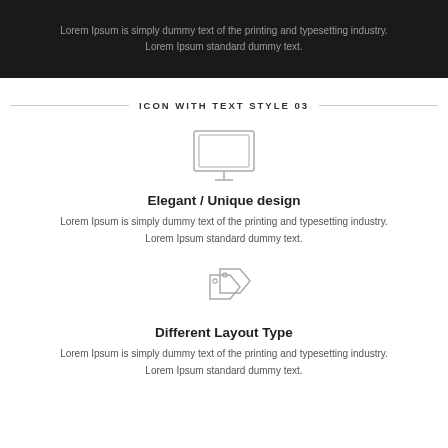Lorem Ipsum is simply dummy text of the printing and typesetting industry. Lorem Ipsum standard dummy text.
ICON WITH TEXT STYLE 03
[Figure (illustration): Monitor / computer screen icon outline]
Elegant / Unique design
Lorem Ipsum is simply dummy text of the printing and typesetting industry. Lorem Ipsum standard dummy text.
[Figure (illustration): Price tags icon outline]
Different Layout Type
Lorem Ipsum is simply dummy text of the printing and typesetting industry. Lorem Ipsum standard dummy text.